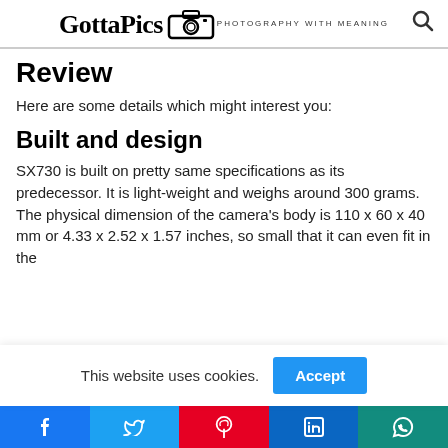GottaPics — Photography With Meaning
Review
Here are some details which might interest you:
Built and design
SX730 is built on pretty same specifications as its predecessor. It is light-weight and weighs around 300 grams. The physical dimension of the camera's body is 110 x 60 x 40 mm or 4.33 x 2.52 x 1.57 inches, so small that it can even fit in the
This website uses cookies.
Facebook | Twitter | Pinterest | LinkedIn | WhatsApp